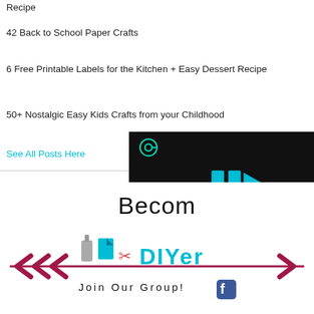Recipe
42 Back to School Paper Crafts
6 Free Printable Labels for the Kitchen + Easy Dessert Recipe
50+ Nostalgic Easy Kids Crafts from your Childhood
See All Posts Here
[Figure (screenshot): Video player overlay with blue play/skip icons on dark background, with a mute icon in bottom-left corner]
Become a DIYer — Join Our Group! [Facebook icon]